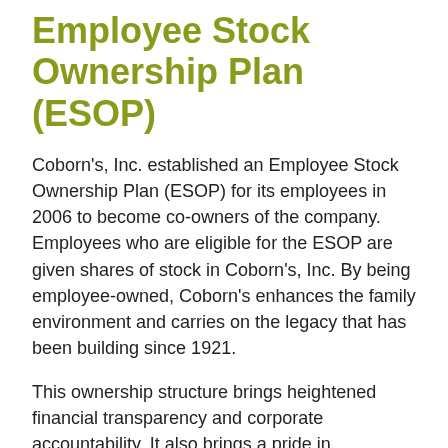Employee Stock Ownership Plan (ESOP)
Coborn's, Inc. established an Employee Stock Ownership Plan (ESOP) for its employees in 2006 to become co-owners of the company. Employees who are eligible for the ESOP are given shares of stock in Coborn's, Inc. By being employee-owned, Coborn's enhances the family environment and carries on the legacy that has been building since 1921.
This ownership structure brings heightened financial transparency and corporate accountability. It also brings a pride in ownership that is prevalent to employees at every level of the organization. Leaders recognize the importance of stock value and focus on